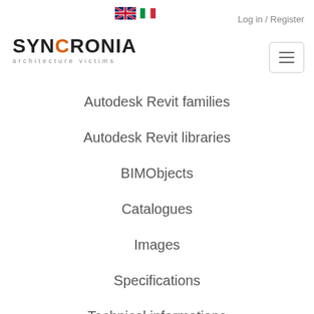[Figure (logo): UK and Italian flag icons for language selection]
Log in / Register
[Figure (logo): SYNCRONIA architecture victims logo with hamburger menu button]
Autodesk Revit families
Autodesk Revit libraries
BIMObjects
Catalogues
Images
Specifications
Technical informations